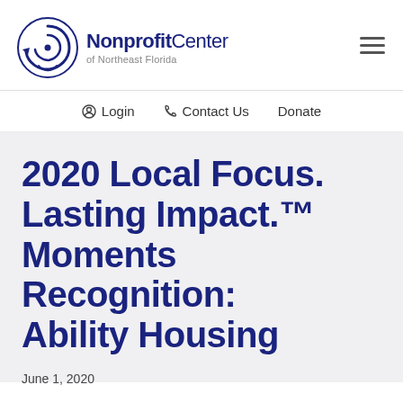[Figure (logo): Nonprofit Center of Northeast Florida logo with spiral icon and text]
Login  Contact Us  Donate
2020 Local Focus. Lasting Impact.™ Moments Recognition: Ability Housing
June 1, 2020